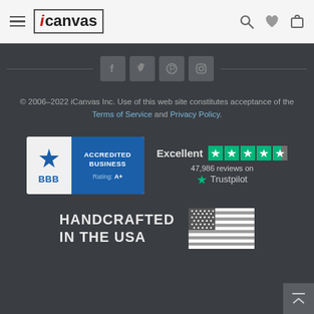iCanvas navigation bar with hamburger menu, logo, search, wishlist, and cart icons
[Figure (infographic): Social media icons row: Facebook, Twitter, Pinterest, Instagram on dark background with horizontal lines flanking]
© 2006–2022 iCanvas Inc. Use of this web site constitutes acceptance of the Terms of Service and Privacy Policy.
[Figure (logo): BBB Accredited Business Rating A+ badge]
[Figure (infographic): Trustpilot Excellent rating with 4.5 stars and 47,986 reviews]
HANDCRAFTED IN THE USA
[Figure (illustration): American flag in grayscale/white]